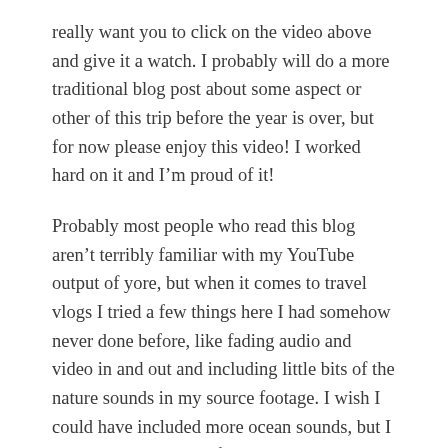really want you to click on the video above and give it a watch. I probably will do a more traditional blog post about some aspect or other of this trip before the year is over, but for now please enjoy this video! I worked hard on it and I'm proud of it!
Probably most people who read this blog aren't terribly familiar with my YouTube output of yore, but when it comes to travel vlogs I tried a few things here I had somehow never done before, like fading audio and video in and out and including little bits of the nature sounds in my source footage. I wish I could have included more ocean sounds, but I don't have a nice mic for my camera kit so any clips of the sea had more awful wind noises than crashing waves.
It isn't quite a perfect video — I wound up having to use